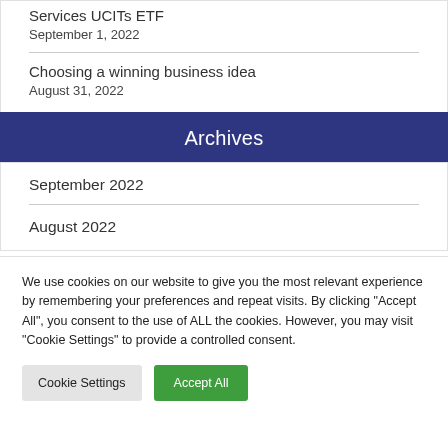Services UCITs ETF
September 1, 2022
Choosing a winning business idea
August 31, 2022
Archives
September 2022
August 2022
We use cookies on our website to give you the most relevant experience by remembering your preferences and repeat visits. By clicking "Accept All", you consent to the use of ALL the cookies. However, you may visit "Cookie Settings" to provide a controlled consent.
Cookie Settings
Accept All